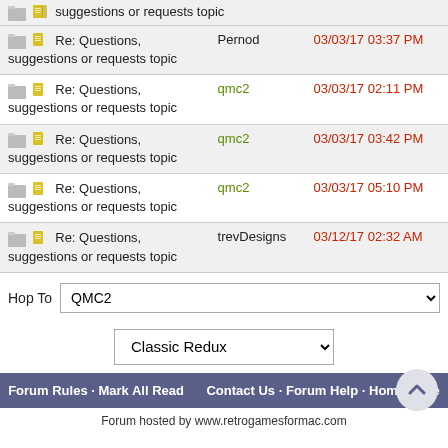Re: Questions, suggestions or requests topic | Pernod | 03/03/17 03:37 PM
Re: Questions, suggestions or requests topic | qmc2 | 03/03/17 02:11 PM
Re: Questions, suggestions or requests topic | qmc2 | 03/03/17 03:42 PM
Re: Questions, suggestions or requests topic | qmc2 | 03/03/17 05:10 PM
Re: Questions, suggestions or requests topic | trevDesigns | 03/12/17 02:32 AM
Hop To  QMC2
Classic Redux
Forum Rules · Mark All Read   Contact Us · Forum Help · Home Page
Forum hosted by www.retrogamesformac.com